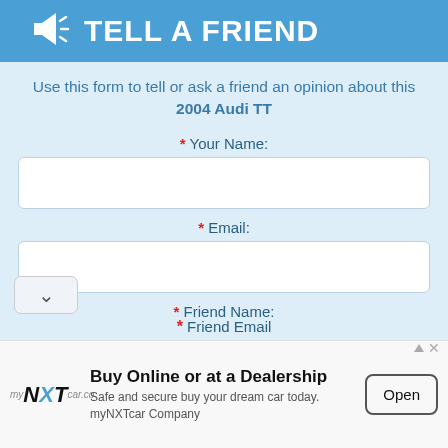TELL A FRIEND
Use this form to tell or ask a friend an opinion about this 2004 Audi TT
* Your Name:
* Email:
* Friend Name:
* Friend Email:
Buy Online or at a Dealership
Safe and secure buy your dream car today. myNXTcar Company